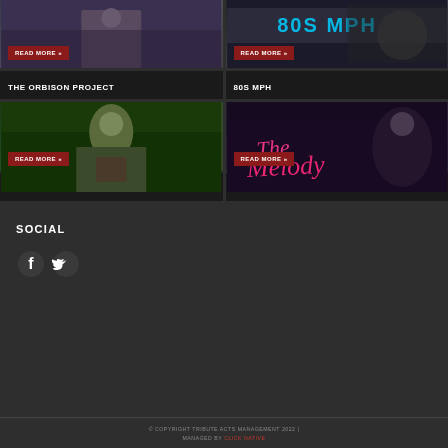[Figure (photo): Card with photo and READ MORE button for The Orbison Project]
THE ORBISON PROJECT
[Figure (photo): Card with photo and READ MORE button for 80s MPH]
80S MPH
[Figure (photo): Card with photo and READ MORE button for Thinking Out Loud]
THINKING OUT LOUD
[Figure (photo): Card with photo and READ MORE button for Melody Mias - ABBA Duo]
MELODY MIAS – ABBA DUO
SOCIAL
[Figure (illustration): Facebook and Twitter social icons]
© COPYRIGHT TRIBUTE ACTS MANAGEMENT 2022 | MANAGED BY CLICK NATIVE